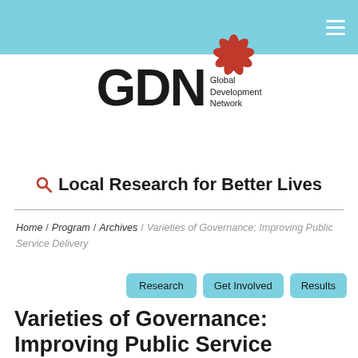GDN Global Development Network
[Figure (logo): GDN Global Development Network logo with red flower/daisy icon above the letters GDN]
Local Research for Better Lives
Home / Program / Archives / Varieties of Governance: Improving Public Service Delivery
Research  Get Involved  Results
Varieties of Governance: Improving Public Service Delivery